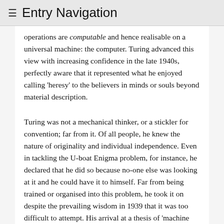≡ Entry Navigation
operations are computable and hence realisable on a universal machine: the computer. Turing advanced this view with increasing confidence in the late 1940s, perfectly aware that it represented what he enjoyed calling 'heresy' to the believers in minds or souls beyond material description.
Turing was not a mechanical thinker, or a stickler for convention; far from it. Of all people, he knew the nature of originality and individual independence. Even in tackling the U-boat Enigma problem, for instance, he declared that he did so because no-one else was looking at it and he could have it to himself. Far from being trained or organised into this problem, he took it on despite the prevailing wisdom in 1939 that it was too difficult to attempt. His arrival at a thesis of 'machine intelligence' was not the outcome of some dull or restricted mentality, or a lack of appreciation of individual human creativity.
7  Machine Intelligence